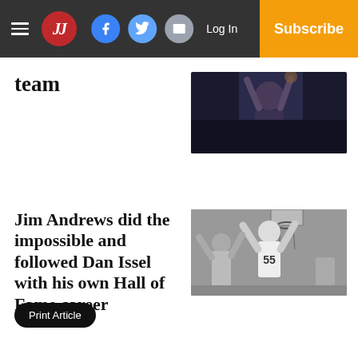JJ | Log In | Subscribe
team
[Figure (photo): Basketball player dunking or reaching up, dark background, color photo]
Jim Andrews did the impossible and followed Dan Issel with his own Hall of Fame career
[Figure (photo): Black and white basketball photo, player wearing number 55 jersey reaching up near the basket]
Print Article